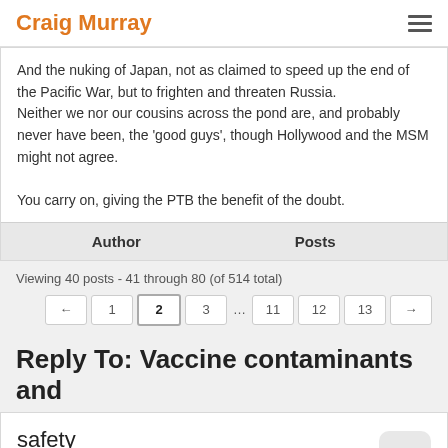Craig Murray
And the nuking of Japan, not as claimed to speed up the end of the Pacific War, but to frighten and threaten Russia. Neither we nor our cousins across the pond are, and probably never have been, the 'good guys', though Hollywood and the MSM might not agree.

You carry on, giving the PTB the benefit of the doubt.
| Author | Posts |
| --- | --- |
Viewing 40 posts - 41 through 80 (of 514 total)
← 1 2 3 … 11 12 13 →
Reply To: Vaccine contaminants and safety